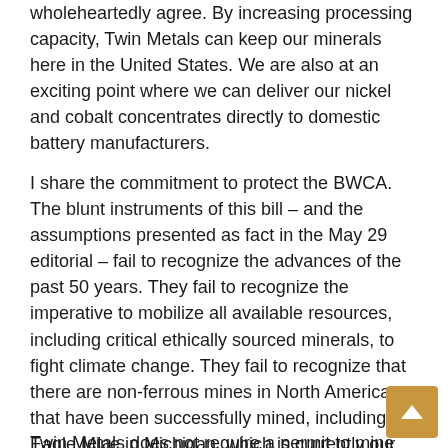wholeheartedly agree. By increasing processing capacity, Twin Metals can keep our minerals here in the United States. We are also at an exciting point where we can deliver our nickel and cobalt concentrates directly to domestic battery manufacturers.
I share the commitment to protect the BWCA. The blunt instruments of this bill – and the assumptions presented as fact in the May 29 editorial – fail to recognize the advances of the past 50 years. They fail to recognize the imperative to mobilize all available resources, including critical ethically sourced minerals, to fight climate change. They fail to recognize that there are non-ferrous mines in North America that have been successfully mined, including the Eagle Mine in Michigan, which is currently our only national source of nickel. And they undermine confidence in our country's strong environmental review processes.
Twin Metals does not require a permit to mine tomorrow. We